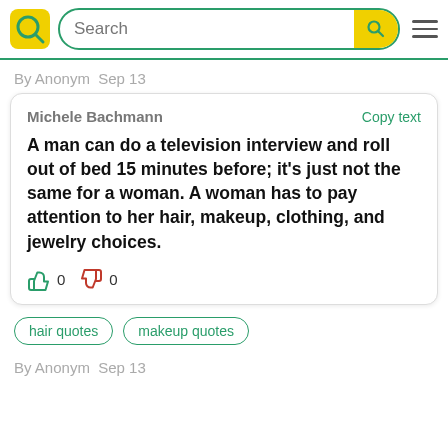Search
By Anonym  Sep 13
Michele Bachmann
Copy text
A man can do a television interview and roll out of bed 15 minutes before; it's just not the same for a woman. A woman has to pay attention to her hair, makeup, clothing, and jewelry choices.
👍 0 👎 0
hair quotes
makeup quotes
By Anonym  Sep 13